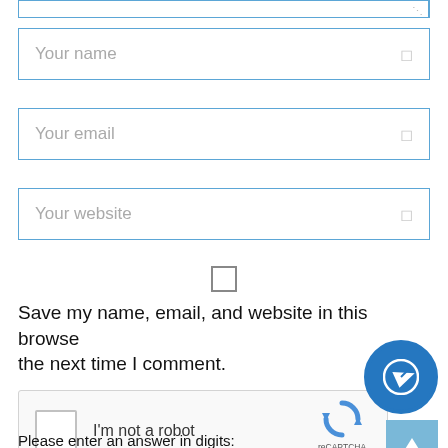[Figure (screenshot): Top partial textarea input field with blue border, showing resize handle at bottom-right corner]
Your name
Your email
Your website
Save my name, email, and website in this browser for the next time I comment.
[Figure (other): reCAPTCHA widget with checkbox and I'm not a robot label, reCAPTCHA logo, Privacy and Terms links]
Please enter an answer in digits: